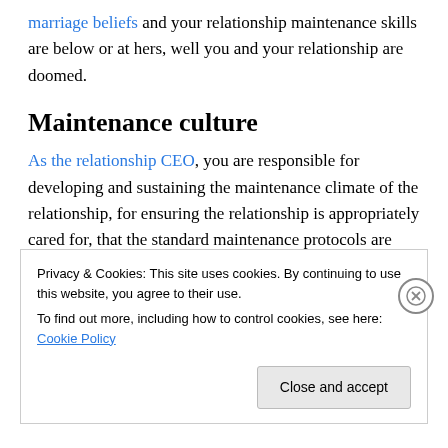marriage beliefs and your relationship maintenance skills are below or at hers, well you and your relationship are doomed.
Maintenance culture
As the relationship CEO, you are responsible for developing and sustaining the maintenance climate of the relationship, for ensuring the relationship is appropriately cared for, that the standard maintenance protocols are
Privacy & Cookies: This site uses cookies. By continuing to use this website, you agree to their use.
To find out more, including how to control cookies, see here: Cookie Policy
Close and accept